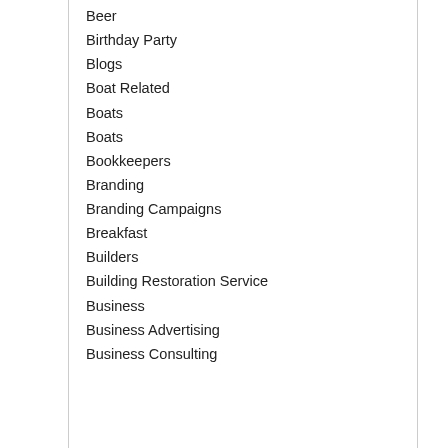Beer
Birthday Party
Blogs
Boat Related
Boats
Boats
Bookkeepers
Branding
Branding Campaigns
Breakfast
Builders
Building Restoration Service
Business
Business Advertising
Business Consulting